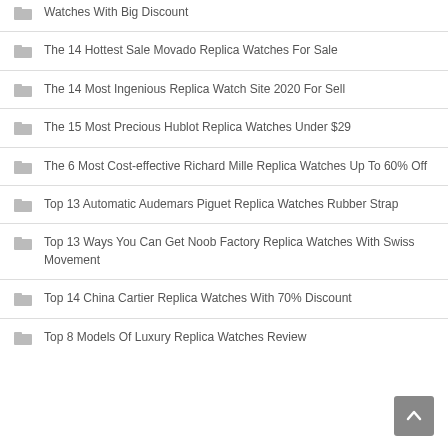Watches With Big Discount
The 14 Hottest Sale Movado Replica Watches For Sale
The 14 Most Ingenious Replica Watch Site 2020 For Sell
The 15 Most Precious Hublot Replica Watches Under $29
The 6 Most Cost-effective Richard Mille Replica Watches Up To 60% Off
Top 13 Automatic Audemars Piguet Replica Watches Rubber Strap
Top 13 Ways You Can Get Noob Factory Replica Watches With Swiss Movement
Top 14 China Cartier Replica Watches With 70% Discount
Top 8 Models Of Luxury Replica Watches Review